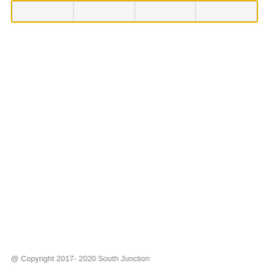|  |  |  |  |
@ Copyright 2017- 2020 South Junction